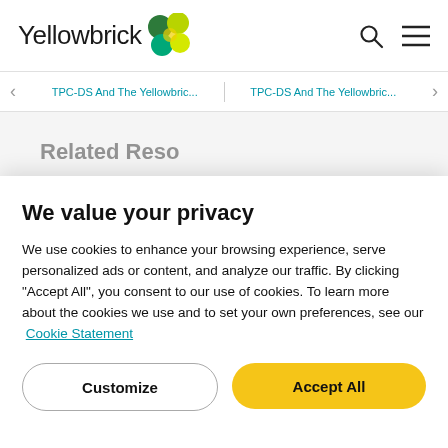Yellowbrick
TPC-DS And The Yellowbric...   TPC-DS And The Yellowbric...
We value your privacy
We use cookies to enhance your browsing experience, serve personalized ads or content, and analyze our traffic. By clicking "Accept All", you consent to our use of cookies. To learn more about the cookies we use and to set your own preferences, see our Cookie Statement
Customize
Accept All